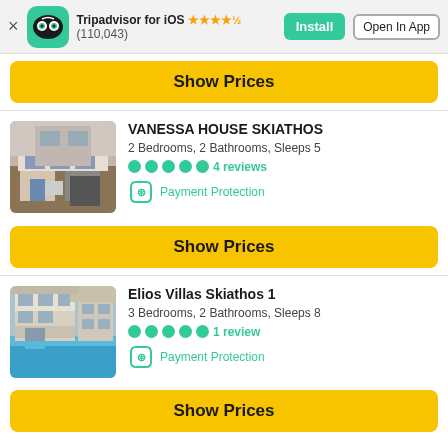Tripadvisor for iOS ★★★★½ (110,043) Install | Open In App
Show Prices
VANESSA HOUSE SKIATHOS
2 Bedrooms, 2 Bathrooms, Sleeps 5
4 reviews
Payment Protection
Show Prices
Elios Villas Skiathos 1
3 Bedrooms, 2 Bathrooms, Sleeps 8
1 review
Payment Protection
Show Prices